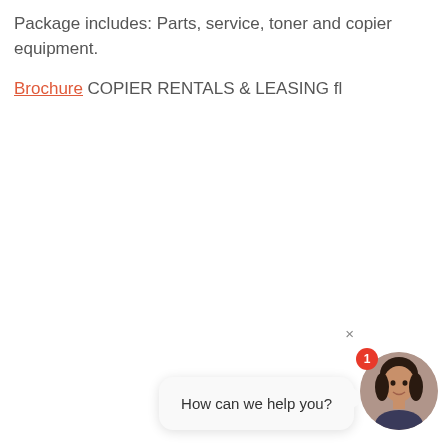Package includes: Parts, service, toner and copier equipment.
Brochure
COPIER RENTALS & LEASING fl
[Figure (screenshot): Chat widget with female avatar, notification badge showing '1', speech bubble saying 'How can we help you?', and a close (x) button in the top right corner.]